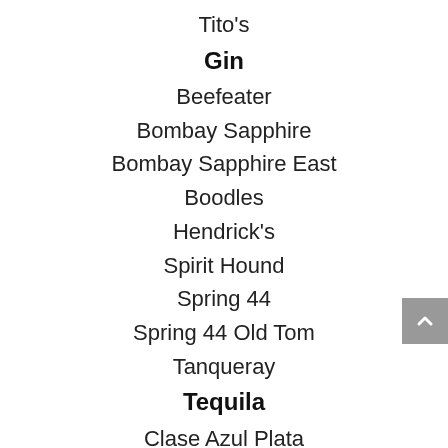Tito's
Gin
Beefeater
Bombay Sapphire
Bombay Sapphire East
Boodles
Hendrick's
Spirit Hound
Spring 44
Spring 44 Old Tom
Tanqueray
Tequila
Clase Azul Plata
Clase Azul Reposado
Don Julio Blanco
Don Julio 1942 Añejo